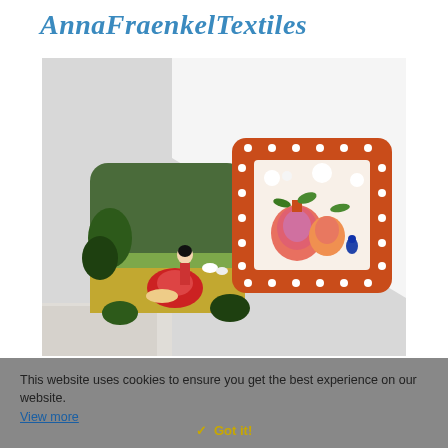AnnaFraenkelTextiles
[Figure (photo): Two decorative cushions on a white sofa/shelf against a white background. Left cushion has a dark green scene with a girl and a snail. Right cushion has an orange/red border with floral and fruit (pomegranate) motifs in bright colors.]
This website uses cookies to ensure you get the best experience on our website.
View more
✓ Got it!